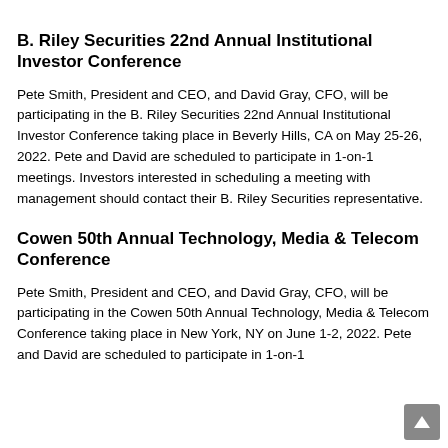B. Riley Securities 22nd Annual Institutional Investor Conference
Pete Smith, President and CEO, and David Gray, CFO, will be participating in the B. Riley Securities 22nd Annual Institutional Investor Conference taking place in Beverly Hills, CA on May 25-26, 2022. Pete and David are scheduled to participate in 1-on-1 meetings. Investors interested in scheduling a meeting with management should contact their B. Riley Securities representative.
Cowen 50th Annual Technology, Media & Telecom Conference
Pete Smith, President and CEO, and David Gray, CFO, will be participating in the Cowen 50th Annual Technology, Media & Telecom Conference taking place in New York, NY on June 1-2, 2022. Pete and David are scheduled to participate in 1-on-1